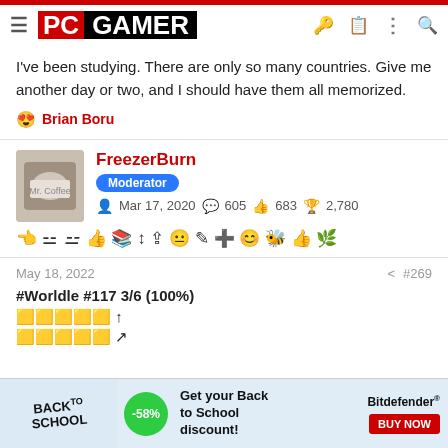PC GAMER
I've been studying. There are only so many countries. Give me another day or two, and I should have them all memorized.
😍 Brian Boru
FreezerBurn — Moderator — Mar 17, 2020 — 605 — 683 — 2,780
May 18, 2022  #269
#Worldle #117 3/6 (100%)
🟨🟨🟨🟨🟨 ↑
🟨🟨🟨🟨🟨 ↗
[Figure (infographic): Back to School advertisement banner with -58% discount badge and Bitdefender Buy Now button]